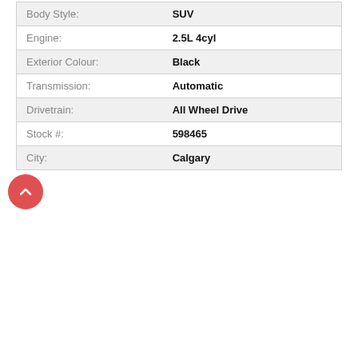| Attribute | Value |
| --- | --- |
| Body Style: | SUV |
| Engine: | 2.5L 4cyl |
| Exterior Colour: | Black |
| Transmission: | Automatic |
| Drivetrain: | All Wheel Drive |
| Stock #: | 598465 |
| City: | Calgary |
[Figure (photo): Dealership showroom photo with 'DEAL PENDING' overlay banner in red, a chat popup widget showing a salesperson avatar, 'Online' status with green dot, message 'Any sales questions? Connect with us now!' and TEXT and CHAT buttons.]